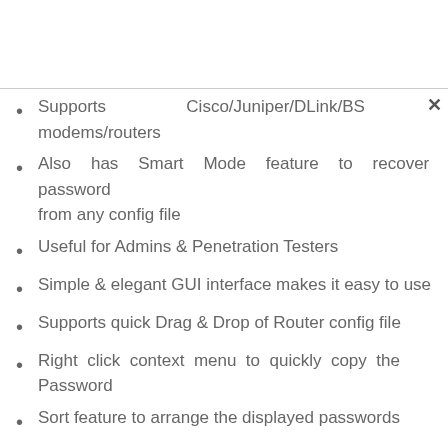Supports Cisco/Juniper/DLink/BS modems/routers
Also has Smart Mode feature to recover password from any config file
Useful for Admins & Penetration Testers
Simple & elegant GUI interface makes it easy to use
Supports quick Drag & Drop of Router config file
Right click context menu to quickly copy the Password
Sort feature to arrange the displayed passwords